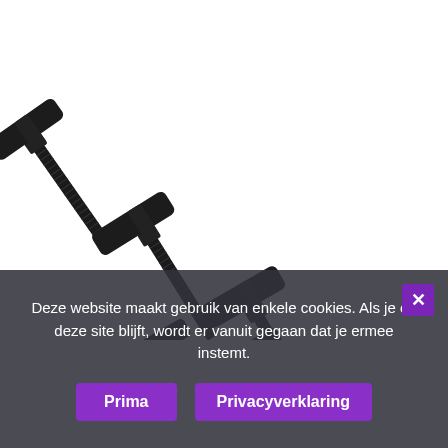[Figure (photo): Multiple black threaded clamping levers/knobs with metal bolts arranged diagonally on a white background. The handles are T-shaped black plastic with threaded metal shafts.]
Deze website maakt gebruik van enkele cookies. Als je op deze site blijft, wordt er vanuit gegaan dat je ermee instemt.